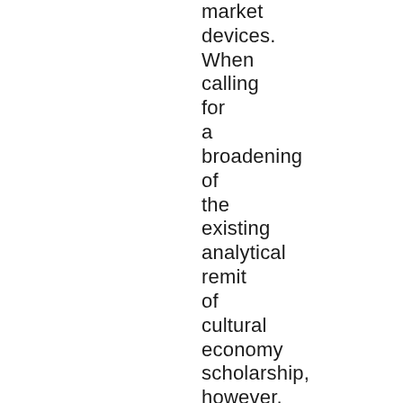market devices. When calling for a broadening of the existing analytical remit of cultural economy scholarship, however, emphasis is also placed on